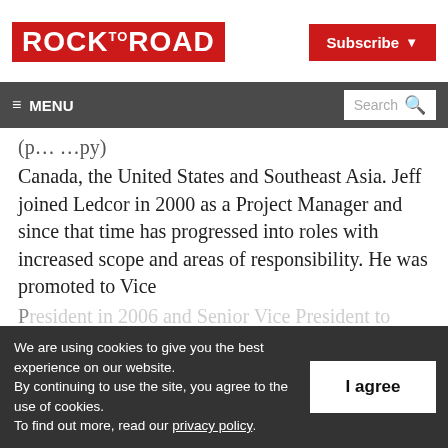ROCK TO ROAD
Subscribe ▾
≡ MENU | Search
(p... ...py) Canada, the United States and Southeast Asia. Jeff joined Ledcor in 2000 as a Project Manager and since that time has progressed into roles with increased scope and areas of responsibility. He was promoted to Vice President in 2006 and Senior Vice President to...
We are using cookies to give you the best experience on our website. By continuing to use the site, you agree to the use of cookies. To find out more, read our privacy policy.